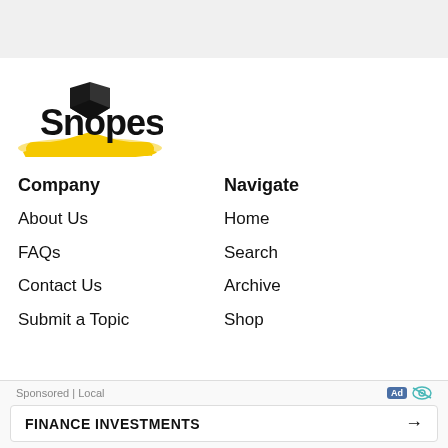[Figure (logo): Snopes logo with yellow diamond/arrow shape and black text]
Company
About Us
FAQs
Contact Us
Submit a Topic
Navigate
Home
Search
Archive
Shop
Sponsored | Local  FINANCE INVESTMENTS →